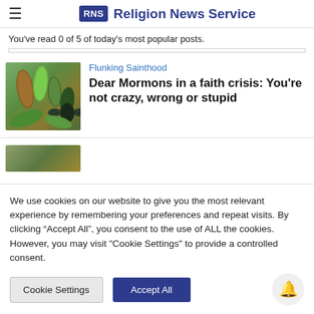RNS Religion News Service
You've read 0 of 5 of today's most popular posts.
Flunking Sainthood
Dear Mormons in a faith crisis: You're not crazy, wrong or stupid
[Figure (photo): Close-up photo of chrysalis/cocoons hanging on a branch, green and brown tones]
We use cookies on our website to give you the most relevant experience by remembering your preferences and repeat visits. By clicking “Accept All”, you consent to the use of ALL the cookies. However, you may visit "Cookie Settings" to provide a controlled consent.